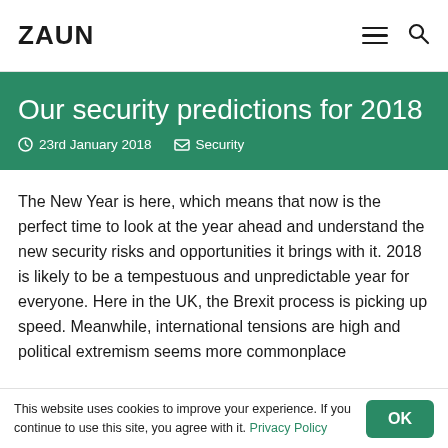ZAUN
Our security predictions for 2018
23rd January 2018   Security
The New Year is here, which means that now is the perfect time to look at the year ahead and understand the new security risks and opportunities it brings with it. 2018 is likely to be a tempestuous and unpredictable year for everyone. Here in the UK, the Brexit process is picking up speed. Meanwhile, international tensions are high and political extremism seems more commonplace
This website uses cookies to improve your experience. If you continue to use this site, you agree with it. Privacy Policy